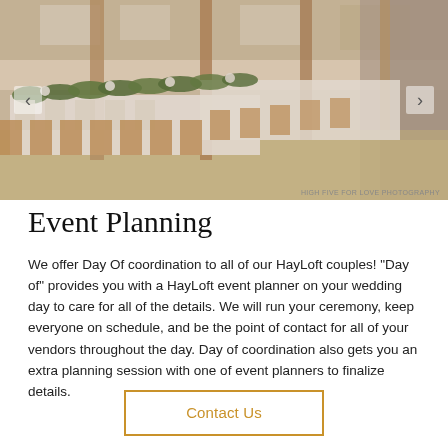[Figure (photo): Interior of a barn wedding venue with long banquet tables covered in white linens, gold place settings, greenery garland runners, and wooden folding chairs. Navigation arrows visible on left and right. Photo credit: HIGH FIVE FOR LOVE PHOTOGRAPHY.]
Event Planning
We offer Day Of coordination to all of our HayLoft couples! "Day of" provides you with a HayLoft event planner on your wedding day to care for all of the details. We will run your ceremony, keep everyone on schedule, and be the point of contact for all of your vendors throughout the day. Day of coordination also gets you an extra planning session with one of event planners to finalize details.
Contact Us